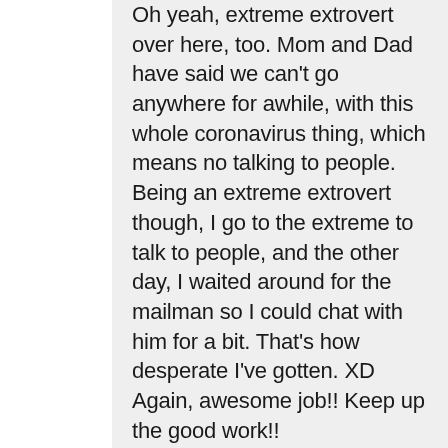Oh yeah, extreme extrovert over here, too. Mom and Dad have said we can't go anywhere for awhile, with this whole coronavirus thing, which means no talking to people. Being an extreme extrovert though, I go to the extreme to talk to people, and the other day, I waited around for the mailman so I could chat with him for a bit. That's how desperate I've gotten. XD
Again, awesome job!! Keep up the good work!!